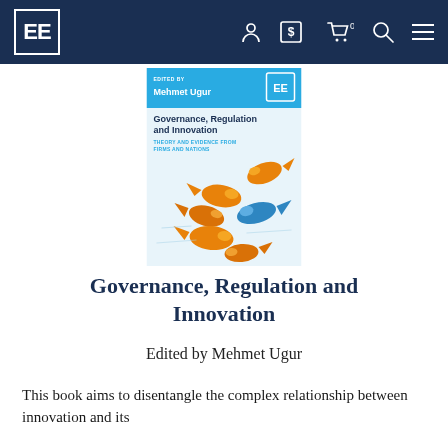EE [logo] — navigation bar with account, currency, cart, search, menu icons
[Figure (illustration): Book cover for 'Governance, Regulation and Innovation: Theory and Evidence from Firms and Nations', edited by Mehmet Ugur. Cover shows several orange goldfish and one blue fish swimming on a light blue background, with the EE publisher logo. Published by Edward Elgar.]
Governance, Regulation and Innovation
Edited by Mehmet Ugur
This book aims to disentangle the complex relationship between innovation and its